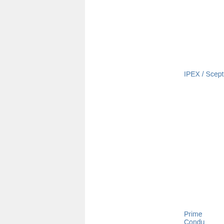|  | IPEX / Scept... |
|  | Prime Condu... |